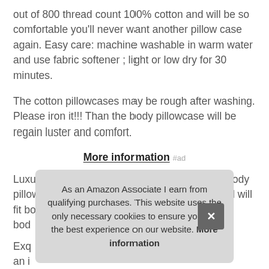out of 800 thread count 100% cotton and will be so comfortable you'll never want another pillow case again. Easy care: machine washable in warm water and use fabric softener ; light or low dry for 30 minutes.
The cotton pillowcases may be rough after washing. Please iron it!!! Than the body pillowcase will be regain luster and comfort.
More information #ad
Luxury hotel pillow case: our soft and smooth body pillow case will feel like sleeping on a cloud and will fit bodypillows that are 20x5... bod...
Exq... an i... securely for optimum comfort. Easy use: our covers are
As an Amazon Associate I earn from qualifying purchases. This website uses the only necessary cookies to ensure you get the best experience on our website. More information